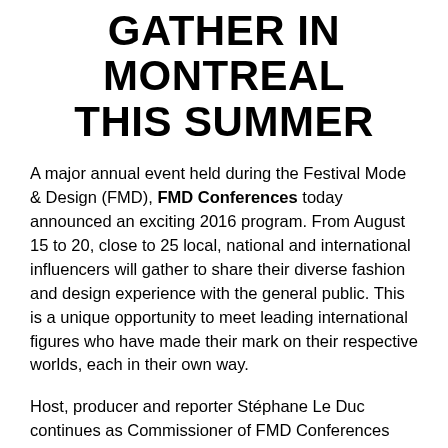GATHER IN MONTREAL THIS SUMMER
A major annual event held during the Festival Mode & Design (FMD), FMD Conferences today announced an exciting 2016 program. From August 15 to 20, close to 25 local, national and international influencers will gather to share their diverse fashion and design experience with the general public. This is a unique opportunity to meet leading international figures who have made their mark on their respective worlds, each in their own way.
Host, producer and reporter Stéphane Le Duc continues as Commissioner of FMD Conferences this year. A pioneer of the fashion and cultural scenes, he has more than 25 years of experience in the field, including the showPerfecto, which was broadcast in 28 Francophone countries. Le Duc has devoted a year to recruiting